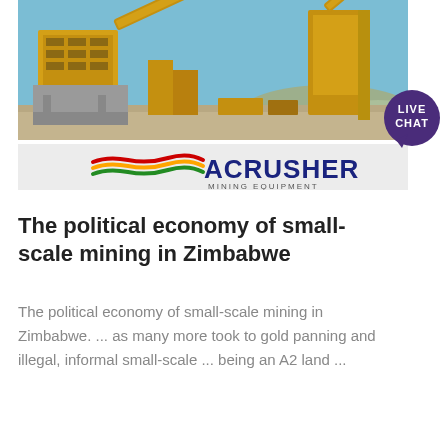[Figure (photo): Mining equipment and conveyor belts at an open-air mine site with yellow machinery against a blue sky, with ACRUSHER MINING EQUIPMENT logo below the photo]
[Figure (logo): Live Chat speech bubble icon in dark purple with text LIVE CHAT]
The political economy of small-scale mining in Zimbabwe
The political economy of small-scale mining in Zimbabwe. ... as many more took to gold panning and illegal, informal small-scale ... being an A2 land ...